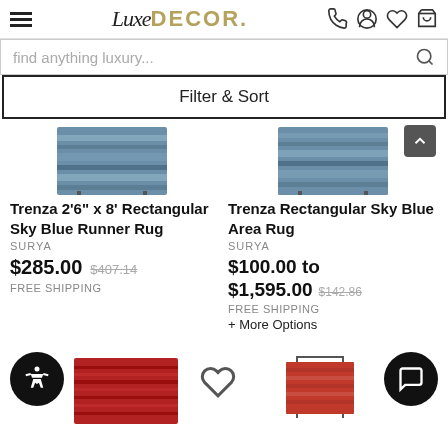LuxeDECOR. [hamburger menu, phone, account, wishlist, cart icons]
find anything luxury...
Filter & Sort
[Figure (photo): Trenza sky blue runner rug product image — striped blue rectangular rug]
Trenza 2'6" x 8' Rectangular Sky Blue Runner Rug
SURYA
$285.00  $407.14
FREE SHIPPING
[Figure (photo): Trenza rectangular sky blue area rug product image — striped blue rug]
Trenza Rectangular Sky Blue Area Rug
SURYA
$100.00 to $1,595.00  $142.86
FREE SHIPPING
+ More Options
[Figure (photo): Red rug product image at bottom left]
[Figure (photo): Red/brown rug product image at bottom right]